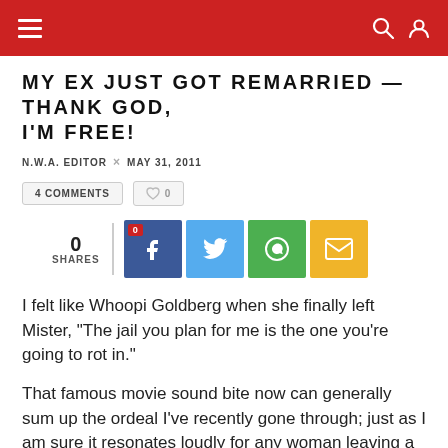Navigation bar with hamburger menu, search and user icons
MY EX JUST GOT REMARRIED — THANK GOD, I'M FREE!
N.W.A. EDITOR × MAY 31, 2011
4 COMMENTS  ♡ 0
0 SHARES — social share buttons: Facebook (0), Twitter, WhatsApp, Email
I felt like Whoopi Goldberg when she finally left Mister, "The jail you plan for me is the one you're going to rot in."
That famous movie sound bite now can generally sum up the ordeal I've recently gone through; just as I am sure it resonates loudly for any woman leaving a tough situation.